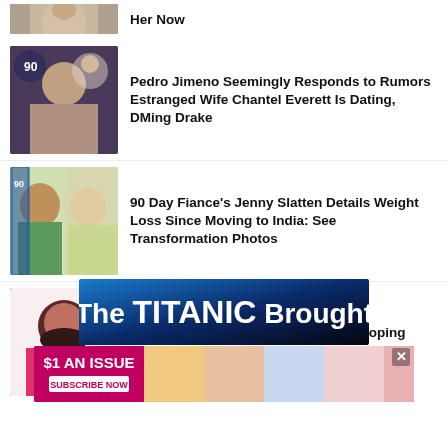[Figure (photo): Partial top thumbnail of a person, cropped]
Her Now
[Figure (photo): Pedro Jimeno photo]
Pedro Jimeno Seemingly Responds to Rumors Estranged Wife Chantel Everett Is Dating, DMing Drake
[Figure (photo): Jenny Slatten and companion photo]
90 Day Fiance's Jenny Slatten Details Weight Loss Since Moving to India: See Transformation Photos
[Figure (photo): Chantel Everett photo]
Chantel Everett Reveals How She's Coping Amid Pedro Jimeno Divorce in Rare Update
[Figure (screenshot): Advertisement: The TITANIC Brought banner ad]
[Figure (screenshot): Bottom advertisement: $1 AN ISSUE - SUBSCRIBE NOW with magazine covers]